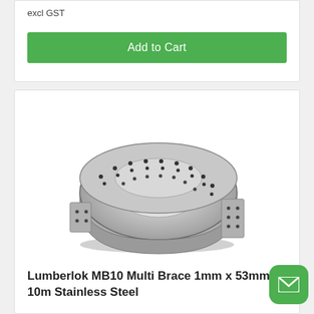excl GST
Add to Cart
[Figure (photo): Lumberlok MB10 Multi Brace stainless steel perforated strapping coil, rolled into a ring shape, showing small punched holes along the length.]
Lumberlok MB10 Multi Brace 1mm x 53mm x 10m Stainless Steel